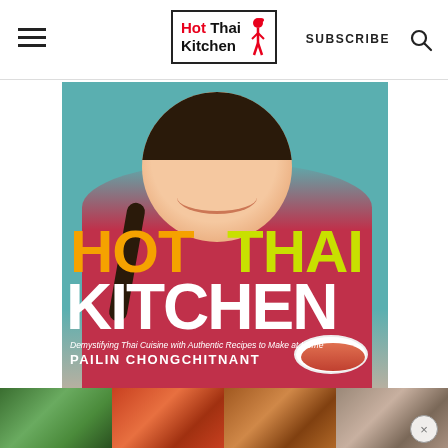Hot Thai Kitchen — SUBSCRIBE
[Figure (photo): Book cover of 'Hot Thai Kitchen' by Pailin Chongchitnant. A smiling woman with a dark braid, wearing a red top, holds a bowl of Thai soup and a lime wedge. Background is teal/blue. Title text: HOT (orange) THAI (yellow-green) KITCHEN (white). Subtitle: Demystifying Thai Cuisine with Authentic Recipes to Make at Home. Author: PAILIN CHONGCHITNANT.]
[Figure (photo): Thumbnail strip showing four food images: green vegetables/salad, red curry or stir-fry, brown noodle dish, and a light-colored Thai dish.]